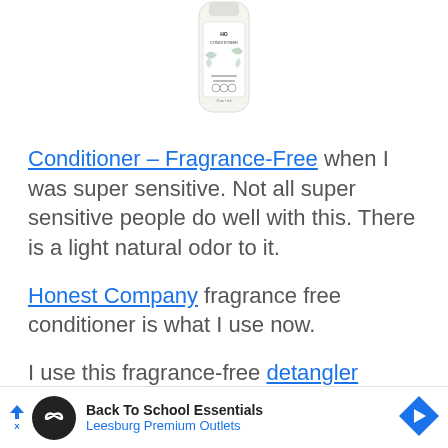[Figure (photo): Product photo of a conditioner bottle with green botanical design and white background, partially cropped at top]
Conditioner – Fragrance-Free when I was super sensitive. Not all super sensitive people do well with this. There is a light natural odor to it.
Honest Company fragrance free conditioner is what I use now.
I use this fragrance-free detangler which (text cut off)
[Figure (infographic): Advertisement banner: Back To School Essentials - Leesburg Premium Outlets]